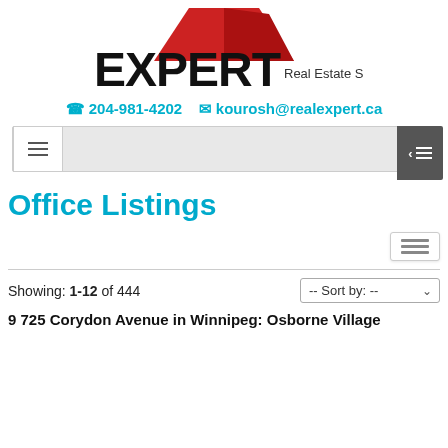[Figure (logo): Expert Real Estate Services logo — red triangular roof shape above bold black EXPERT text with 'Real Estate Services' in smaller text to the right]
☎ 204-981-4202   ✉ kourosh@realexpert.ca
[Figure (screenshot): Navigation bar with hamburger menu button on left and dark sidebar toggle on right]
Office Listings
[Figure (screenshot): View toggle button (list view icon)]
Showing: 1-12 of 444   -- Sort by: --
9 725 Corydon Avenue in Winnipeg: Osborne Village